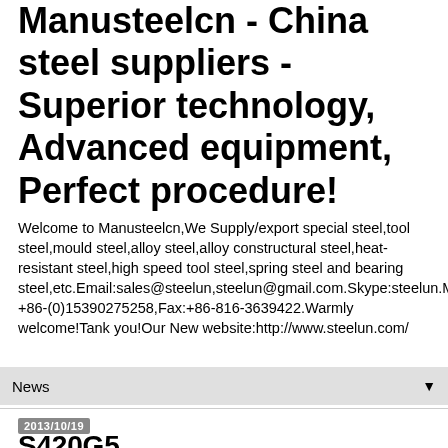Manusteelcn - China steel suppliers - Superior technology, Advanced equipment, Perfect procedure!
Welcome to Manusteelcn,We Supply/export special steel,tool steel,mould steel,alloy steel,alloy constructural steel,heat-resistant steel,high speed tool steel,spring steel and bearing steel,etc.Email:sales@steelun,steelun@gmail.com.Skype:steelun.Mob: +86-(0)15390275258,Fax:+86-816-3639422.Warmly welcome!Tank you!Our New website:http://www.steelun.com/
News
2013/10/19
S420G5